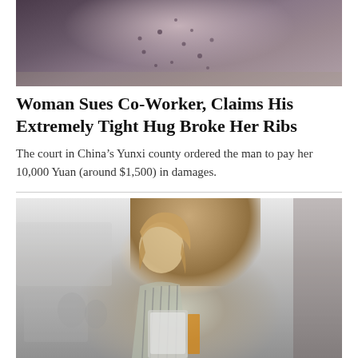[Figure (photo): Top portion of a person wearing a dark patterned top, photographed outdoors with blurred background]
Woman Sues Co-Worker, Claims His Extremely Tight Hug Broke Her Ribs
The court in China's Yunxi county ordered the man to pay her 10,000 Yuan (around $1,500) in damages.
[Figure (photo): A young blonde woman in a striped blouse holding a tablet, in a blurred office environment]